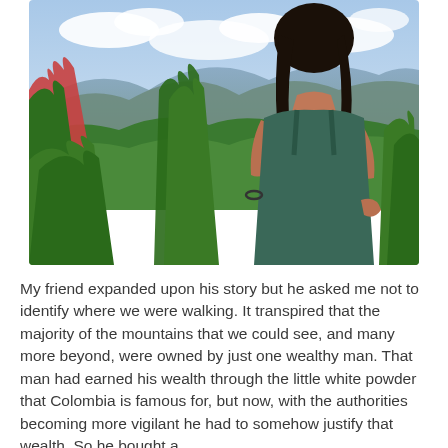[Figure (photo): A woman with dark shoulder-length hair, wearing a dark teal/green tank top, stands with her back to the camera looking out over a lush green mountainous landscape in Colombia. Blue sky with white clouds visible above the mountain ridges.]
My friend expanded upon his story but he asked me not to identify where we were walking. It transpired that the majority of the mountains that we could see, and many more beyond, were owned by just one wealthy man. That man had earned his wealth through the little white powder that Colombia is famous for, but now, with the authorities becoming more vigilant he had to somehow justify that wealth. So he bought a